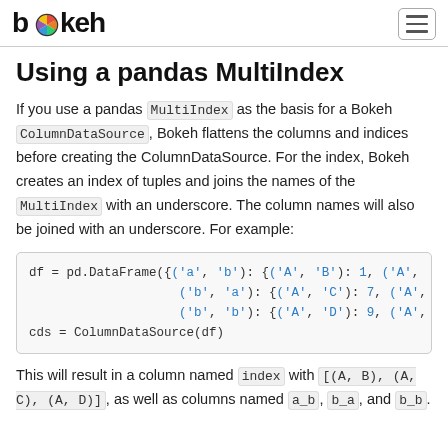bokeh
Using a pandas MultiIndex
If you use a pandas MultiIndex as the basis for a Bokeh ColumnDataSource, Bokeh flattens the columns and indices before creating the ColumnDataSource. For the index, Bokeh creates an index of tuples and joins the names of the MultiIndex with an underscore. The column names will also be joined with an underscore. For example:
df = pd.DataFrame({('a', 'b'): {('A', 'B'): 1, ('A', ('b', 'a'): {('A', 'C'): 7, ('A', ('b', 'b'): {('A', 'D'): 9, ('A',
cds = ColumnDataSource(df)
This will result in a column named index with [(A, B), (A, C), (A, D)], as well as columns named a_b, b_a, and b_b.